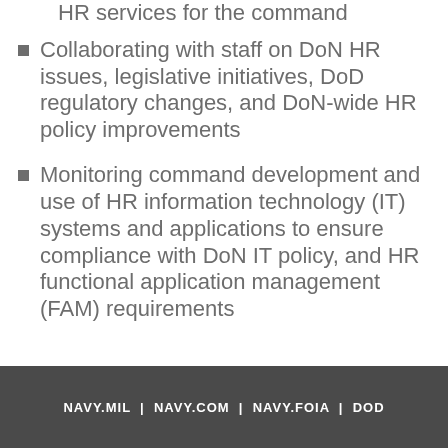HR services for the command
Collaborating with staff on DoN HR issues, legislative initiatives, DoD regulatory changes, and DoN-wide HR policy improvements
Monitoring command development and use of HR information technology (IT) systems and applications to ensure compliance with DoN IT policy, and HR functional application management (FAM) requirements
NAVY.MIL | NAVY.COM | NAVY.FOIA | DOD...